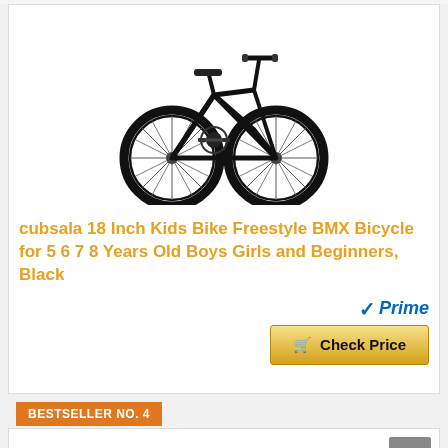[Figure (photo): Black BMX freestyle bicycle, side view, showing full frame, wheels, handlebars, seat, and pedals on white background]
cubsala 18 Inch Kids Bike Freestyle BMX Bicycle for 5 6 7 8 Years Old Boys Girls and Beginners, Black
[Figure (logo): Amazon Prime badge with blue checkmark and italic Prime text in blue]
Check Price
BESTSELLER NO. 4
[Figure (photo): Partial view of another BMX bicycle handlebars visible at bottom of page]